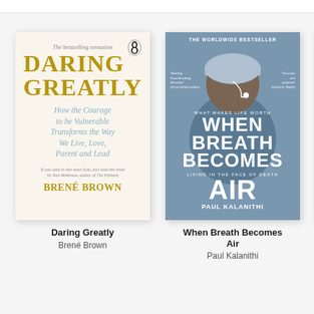[Figure (illustration): Book cover for 'Daring Greatly' by Brené Brown. Cream/white background with gold and teal text. Subtitle: How the Courage to be Vulnerable Transforms the Way We Live, Love, Parent and Lead. Penguin Life logo top right.]
Daring Greatly
Brené Brown
[Figure (illustration): Book cover for 'When Breath Becomes Air' by Paul Kalanithi. Blue-grey background with photo of surgeon from behind wearing surgical cap. White bold text. THE WORLDWIDE BESTSELLER at top.]
When Breath Becomes Air
Paul Kalanithi
[Figure (illustration): Partial view of a third book cover with yellow/amber background, partially cropped at right edge.]